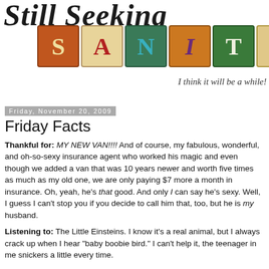[Figure (logo): Blog header image showing cursive text 'Still Seeking' above colorful alphabet blocks spelling 'SANITY' with tagline 'I think it will be a while!']
Friday, November 20, 2009
Friday Facts
Thankful for: MY NEW VAN!!!! And of course, my fabulous, wonderful, and oh-so-sexy insurance agent who worked his magic and even though we added a van that was 10 years newer and worth five times as much as my old one, we are only paying $7 more a month in insurance. Oh, yeah, he's that good. And only I can say he's sexy. Well, I guess I can't stop you if you decide to call him that, too, but he is my husband.
Listening to: The Little Einsteins. I know it's a real animal, but I always crack up when I hear "baby boobie bird." I can't help it, the teenager in me snickers a little every time.